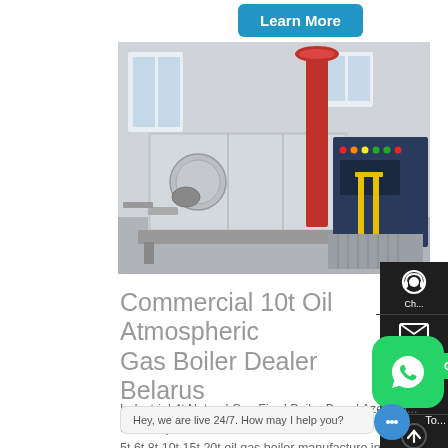[Figure (other): Learn More button (blue rounded rectangle) partially visible at the top of the page]
[Figure (photo): Industrial boiler equipment in a factory setting — large grey rectangular boiler unit with a red cylindrical stack, blue control panel with indicator lights, and pipes, set in a white industrial building]
Commercial 10t Oil Atmospheric [Pressure Gas Boiler] Dealer Belarus
Industrial 4t Natural Gas Fired Boiler Brand Azerbaij... Boiler top 10 ... 5t 6t 8t 10t 15t 20t oil gas boiler manufacture in
[Figure (other): WhatsApp icon (green rounded square with white phone icon) and 'Contact us now!' green pill banner overlay]
[Figure (other): Right sidebar dark panel with headset icon (Ch...), email/envelope icon (Em...), and three-dot chat icon (Com...) and blue chat bubble at bottom right, plus live chat tooltip 'Hey, we are live 24/7. How may I help you?']